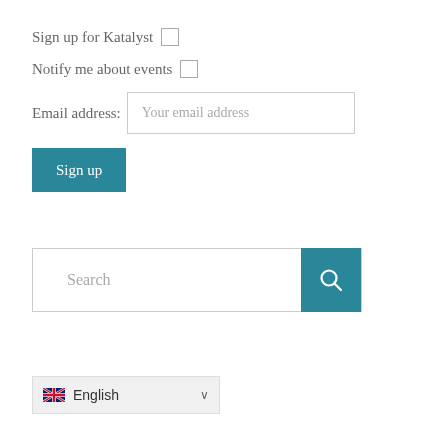Sign up for Katalyst  ☐
Notify me about events  ☐
Email address: Your email address
Sign up
Search
[Figure (other): Search icon (magnifying glass) on teal background]
🇬🇧 English ∨